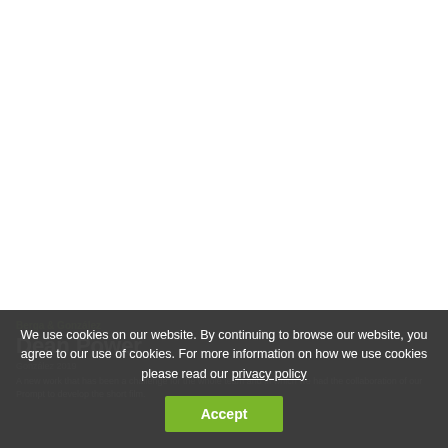[Figure (photo): White/blank top area representing a webpage with an image or video area above the content]
Berga & González
Dean Power
González 2019
A new work that has been a challenge for the whole team and in which we had the collaboration of our Prompt to develop the short film.
We use cookies on our website. By continuing to browse our website, you agree to our use of cookies. For more information on how we use cookies please read our privacy policy
Accept